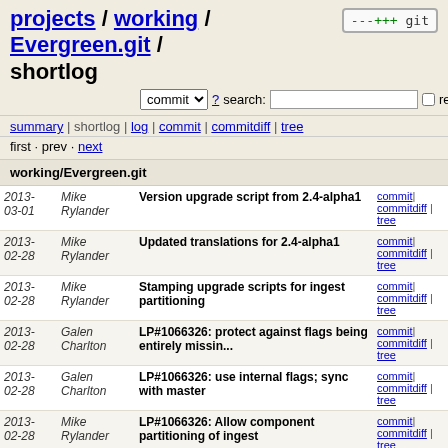projects / working / Evergreen.git / shortlog
commit ▼ ? search:  re
summary | shortlog | log | commit | commitdiff | tree
first · prev · next
working/Evergreen.git
| Date | Author | Message | Links |
| --- | --- | --- | --- |
| 2013-03-01 | Mike Rylander | Version upgrade script from 2.4-alpha1 | commit | commitdiff | tree |
| 2013-02-28 | Mike Rylander | Updated translations for 2.4-alpha1 | commit | commitdiff | tree |
| 2013-02-28 | Mike Rylander | Stamping upgrade scripts for ingest partitioning | commit | commitdiff | tree |
| 2013-02-28 | Galen Charlton | LP#1066326: protect against flags being entirely missin... | commit | commitdiff | tree |
| 2013-02-28 | Galen Charlton | LP#1066326: use internal flags; sync with master | commit | commitdiff | tree |
| 2013-02-28 | Mike Rylander | LP#1066326: Allow component partitioning of ingest | commit | commitdiff | tree |
| 2013-02-28 | Dan Wells | TPAC: Don't display serial headers without content | commit | commitdiff | tree |
| 2013-02-28 | Dan Scott | Provide some level of support for legacy install locations | commit | commitdiff | tree |
| 2013-02-28 | Dan Scott | Clean-up unused Apache ... | commit | commitdiff |